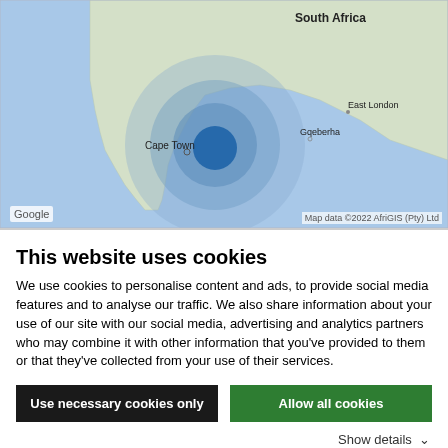[Figure (map): Google Maps screenshot showing the southern tip of South Africa with a concentration circle centered near Cape Town. Cities labeled include South Africa, Cape Town, Gqeberha, and East London. Google logo and map attribution visible.]
This website uses cookies
We use cookies to personalise content and ads, to provide social media features and to analyse our traffic. We also share information about your use of our site with our social media, advertising and analytics partners who may combine it with other information that you've provided to them or that they've collected from your use of their services.
Use necessary cookies only | Allow all cookies | Show details